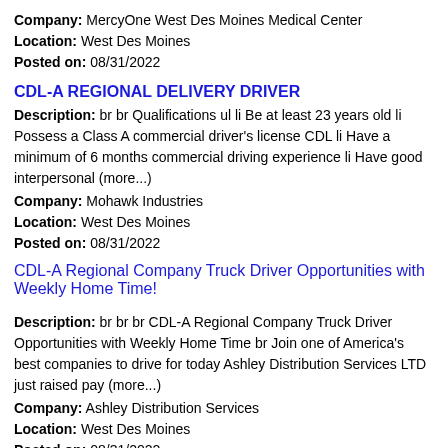Company: MercyOne West Des Moines Medical Center
Location: West Des Moines
Posted on: 08/31/2022
CDL-A REGIONAL DELIVERY DRIVER
Description: br br Qualifications ul li Be at least 23 years old li Possess a Class A commercial driver's license CDL li Have a minimum of 6 months commercial driving experience li Have good interpersonal (more...)
Company: Mohawk Industries
Location: West Des Moines
Posted on: 08/31/2022
CDL-A Regional Company Truck Driver Opportunities with Weekly Home Time!
Description: br br br CDL-A Regional Company Truck Driver Opportunities with Weekly Home Time br Join one of America's best companies to drive for today Ashley Distribution Services LTD just raised pay (more...)
Company: Ashley Distribution Services
Location: West Des Moines
Posted on: 08/31/2022